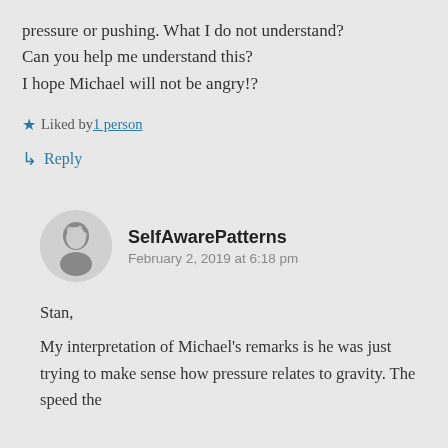pressure or pushing. What I do not understand? Can you help me understand this? I hope Michael will not be angry!?
Liked by 1 person
Reply
SelfAwarePatterns
February 2, 2019 at 6:18 pm
Stan,
My interpretation of Michael's remarks is he was just trying to make sense how pressure relates to gravity. The speed the